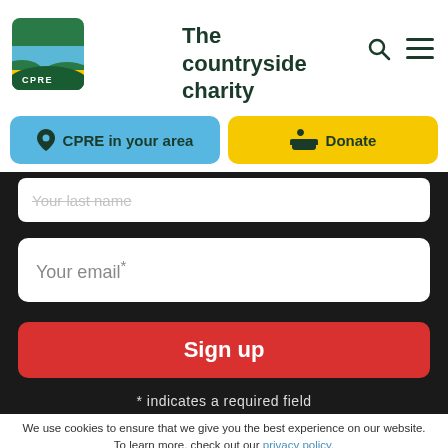[Figure (logo): CPRE logo - green rounded square with landscape waves and CPRE text]
The countryside charity
CPRE in your area
Donate
Your last name
Your email*
Sign up
* indicates a required field
We use cookies to ensure that we give you the best experience on our website. To learn more, check out our privacy policy.
Accept